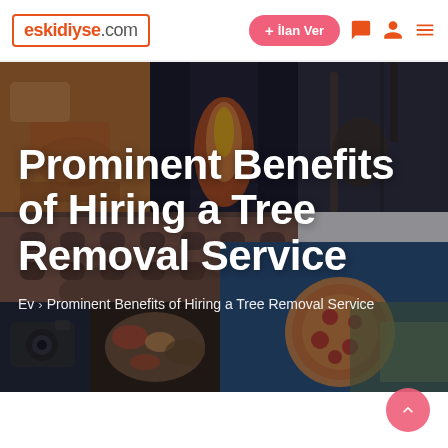eskidiyse.com | + İlan Ver
[Figure (photo): Mosaic collage of various photos including food, fire, guitar, buildings, camera, sushi, pizza, and cityscape — used as a hero banner background]
Prominent Benefits of Hiring a Tree Removal Service
Ev > Prominent Benefits of Hiring a Tree Removal Service